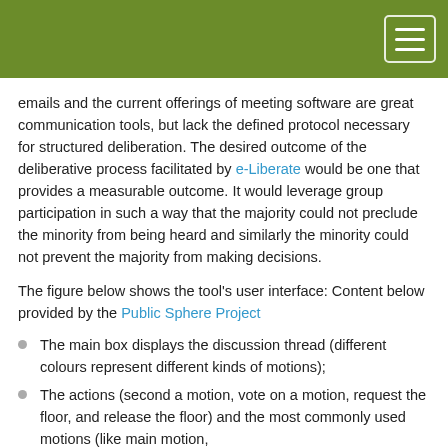[Navigation header bar with hamburger menu]
emails and the current offerings of meeting software are great communication tools, but lack the defined protocol necessary for structured deliberation. The desired outcome of the deliberative process facilitated by e-Liberate would be one that provides a measurable outcome. It would leverage group participation in such a way that the majority could not preclude the minority from being heard and similarly the minority could not prevent the majority from making decisions.
The figure below shows the tool's user interface: Content below provided by the Public Sphere Project
The main box displays the discussion thread (different colours represent different kinds of motions);
The actions (second a motion, vote on a motion, request the floor, and release the floor) and the most commonly used motions (like main motion,